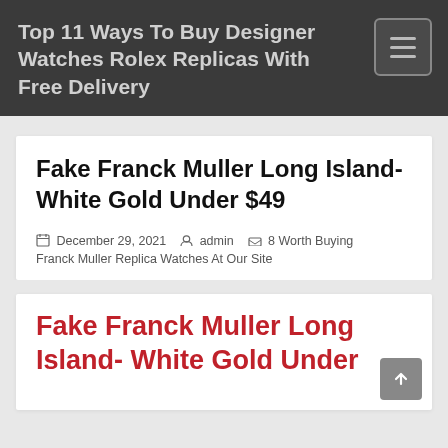Top 11 Ways To Buy Designer Watches Rolex Replicas With Free Delivery
Fake Franck Muller Long Island- White Gold Under $49
December 29, 2021  admin  8 Worth Buying Franck Muller Replica Watches At Our Site
Fake Franck Muller Long Island- White Gold Under